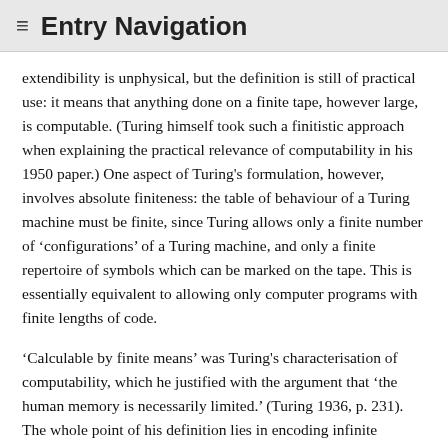≡ Entry Navigation
extendibility is unphysical, but the definition is still of practical use: it means that anything done on a finite tape, however large, is computable. (Turing himself took such a finitistic approach when explaining the practical relevance of computability in his 1950 paper.) One aspect of Turing's formulation, however, involves absolute finiteness: the table of behaviour of a Turing machine must be finite, since Turing allows only a finite number of ‘configurations’ of a Turing machine, and only a finite repertoire of symbols which can be marked on the tape. This is essentially equivalent to allowing only computer programs with finite lengths of code.
‘Calculable by finite means’ was Turing's characterisation of computability, which he justified with the argument that ‘the human memory is necessarily limited.’ (Turing 1936, p. 231). The whole point of his definition lies in encoding infinite potential effects, (e.g. the printing of an infinite decimal) into finite ‘tables of behaviour’. There would be no point in allowing machines with infinite